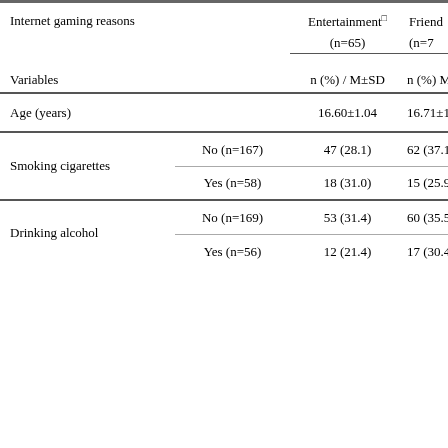| Variables |  | Entertainment (n=65) | Friends (n=7...) |
| --- | --- | --- | --- |
|  |  | n (%) / M±SD | n (%) M±... |
| Age (years) |  | 16.60±1.04 | 16.71±1.0... |
| Smoking cigarettes | No (n=167) | 47 (28.1) | 62 (37.1) |
| Smoking cigarettes | Yes (n=58) | 18 (31.0) | 15 (25.9) |
| Drinking alcohol | No (n=169) | 53 (31.4) | 60 (35.5) |
| Drinking alcohol | Yes (n=56) | 12 (21.4) | 17 (30.4) |